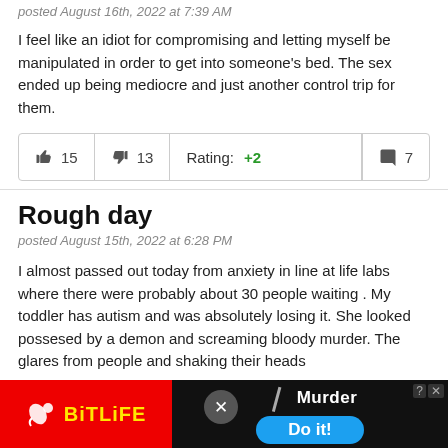posted August 16th, 2022 at 7:39 AM
I feel like an idiot for compromising and letting myself be manipulated in order to get into someone's bed. The sex ended up being mediocre and just another control trip for them.
| 👍 15 | 👎 13 | Rating: +2 | 💬 7 |
| --- | --- | --- | --- |
Rough day
posted August 15th, 2022 at 6:28 PM
I almost passed out today from anxiety in line at life labs where there were probably about 30 people waiting . My toddler has autism and was absolutely losing it. She looked possesed by a demon and screaming bloody murder. The glares from people and shaking their heads…
[Figure (screenshot): BitLife advertisement banner at bottom of page with red background, yellow BitLife logo, and blue 'Do it!' button with 'Murder' text]